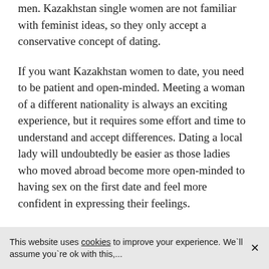men. Kazakhstan single women are not familiar with feminist ideas, so they only accept a conservative concept of dating.
If you want Kazakhstan women to date, you need to be patient and open-minded. Meeting a woman of a different nationality is always an exciting experience, but it requires some effort and time to understand and accept differences. Dating a local lady will undoubtedly be easier as those ladies who moved abroad become more open-minded to having sex on the first date and feel more confident in expressing their feelings.
This website uses cookies to improve your experience. We`ll assume you`re ok with this,...